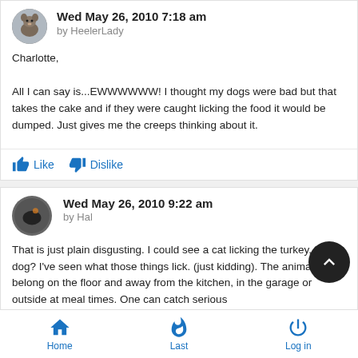Wed May 26, 2010 7:18 am
by HeelerLady
Charlotte,

All I can say is...EWWWWWW! I thought my dogs were bad but that takes the cake and if they were caught licking the food it would be dumped. Just gives me the creeps thinking about it.
Like   Dislike
Wed May 26, 2010 9:22 am
by Hal
That is just plain disgusting. I could see a cat licking the turkey, but a dog? I've seen what those things lick. (just kidding). The animals belong on the floor and away from the kitchen, in the garage or outside at meal times. One can catch serious
Home   Last   Log in